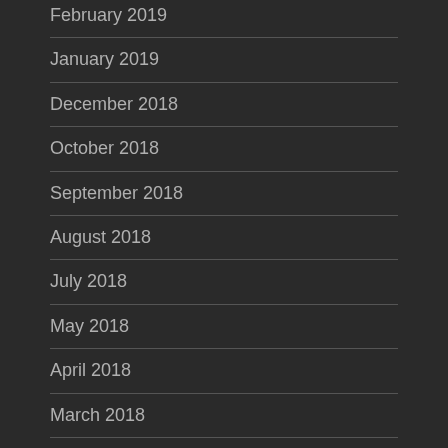February 2019
January 2019
December 2018
October 2018
September 2018
August 2018
July 2018
May 2018
April 2018
March 2018
February 2018